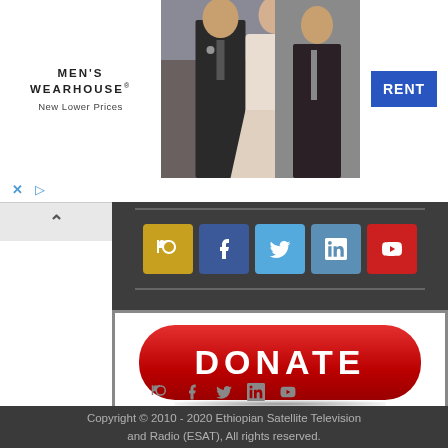[Figure (screenshot): Men's Wearhouse advertisement banner with a couple in formal wear and a man in a suit. Shows 'MEN'S WEARHOUSE New Lower Prices' text and a blue RENT button.]
[Figure (infographic): Social media icon buttons: RSS (gold), Facebook (blue), Twitter (cyan), LinkedIn (steel blue), YouTube (red)]
[Figure (infographic): DONATE button in red with rounded corners and white bold text]
[Figure (infographic): Footer social media icons: RSS, Facebook, Twitter, LinkedIn, YouTube in gray]
Copyright © 2010 - 2020 Ethiopian Satellite Television and Radio (ESAT), All rights reserved.